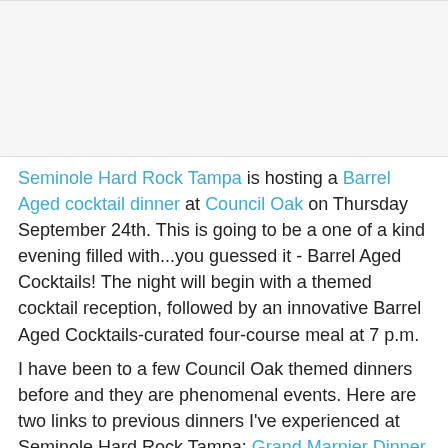[Figure (photo): Image placeholder at top of page]
Seminole Hard Rock Tampa is hosting a Barrel Aged cocktail dinner at Council Oak on Thursday September 24th. This is going to be a one of a kind evening filled with...you guessed it - Barrel Aged Cocktails! The night will begin with a themed cocktail reception, followed by an innovative Barrel Aged Cocktails-curated four-course meal at 7 p.m.

I have been to a few Council Oak themed dinners before and they are phenomenal events. Here are two links to previous dinners I've experienced at Seminole Hard Rock Tampa: Grand Marnier Dinner at Council Oak and Jack Daniels Dinner at Council Oak. After reading the menu, I am not sure what I am more excited for. This is going to be a one of a kind meal.
[Figure (photo): Image placeholder at bottom of page]